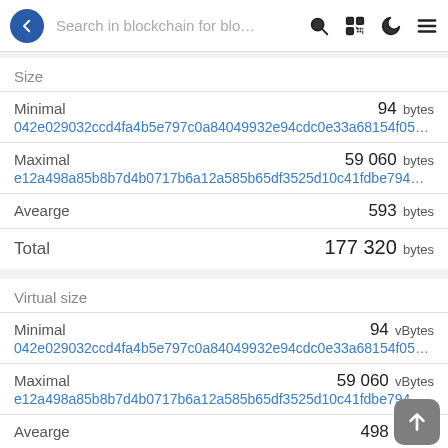Search in blockchain for blo…
Size
Minimal  94 bytes
042e029032ccd4fa4b5e797c0a84049932e94cdc0e33a68154f05…
Maximal  59 060 bytes
e12a498a85b8b7d4b0717b6a12a585b65df3525d10c41fdbe794…
Avearge  593 bytes
Total  177 320 bytes
Virtual size
Minimal  94 vBytes
042e029032ccd4fa4b5e797c0a84049932e94cdc0e33a68154f05…
Maximal  59 060 vBytes
e12a498a85b8b7d4b0717b6a12a585b65df3525d10c41fdbe794…
Avearge  498 vBytes